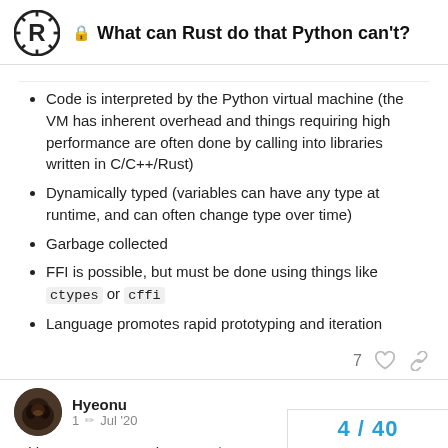What can Rust do that Python can't?
Code is interpreted by the Python virtual machine (the VM has inherent overhead and things requiring high performance are often done by calling into libraries written in C/C++/Rust)
Dynamically typed (variables can have any type at runtime, and can often change type over time)
Garbage collected
FFI is possible, but must be done using things like ctypes or cffi
Language promotes rapid prototyping and iteration
Hyeonu  1 ✏ Jul '20
With Rust you can write operating system within the kernel, rewrite existing C libr...